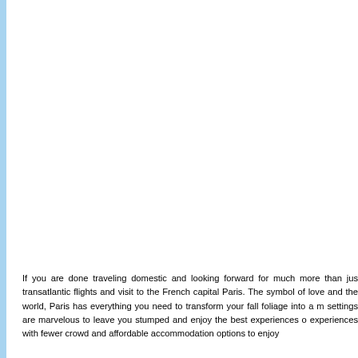If you are done traveling domestic and looking forward for much more than just transatlantic flights and visit to the French capital Paris. The symbol of love and the world, Paris has everything you need to transform your fall foliage into a marvelous settings are marvelous to leave you stumped and enjoy the best experiences of fall experiences with fewer crowd and affordable accommodation options to enjoy